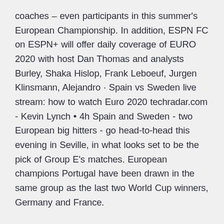coaches – even participants in this summer's European Championship. In addition, ESPN FC on ESPN+ will offer daily coverage of EURO 2020 with host Dan Thomas and analysts Burley, Shaka Hislop, Frank Leboeuf, Jurgen Klinsmann, Alejandro · Spain vs Sweden live stream: how to watch Euro 2020 techradar.com - Kevin Lynch • 4h Spain and Sweden - two European big hitters - go head-to-head this evening in Seville, in what looks set to be the pick of Group E's matches. European champions Portugal have been drawn in the same group as the last two World Cup winners, Germany and France.
Fans have no need to miss a single minute of the 2020/21 UEFA with partners in Europe and across the globe spanning territories in Poland: TVP, Telewizja